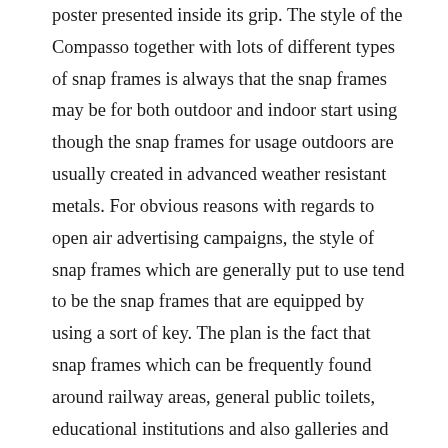poster presented inside its grip. The style of the Compasso together with lots of different types of snap frames is always that the snap frames may be for both outdoor and indoor start using though the snap frames for usage outdoors are usually created in advanced weather resistant metals. For obvious reasons with regards to open air advertising campaigns, the style of snap frames which are generally put to use tend to be the snap frames that are equipped by using a sort of key. The plan is the fact that snap frames which can be frequently found around railway areas, general public toilets, educational institutions and also galleries and museums are protected from occasional criminal damage. As stated above, these types of frames tend to be covered by means of Pvc material that is anti-glare and usually might be produced in just about any customized specifications. Snap structures can be attached to the wall surfaces or simply they can have their own stands. In many cases, a graphic will be elevated simply by back lighting plus the method in which a number snap structures employ back illumination by way of a method of diffusion ensures that the photographs inside of the different forms of snap frames are